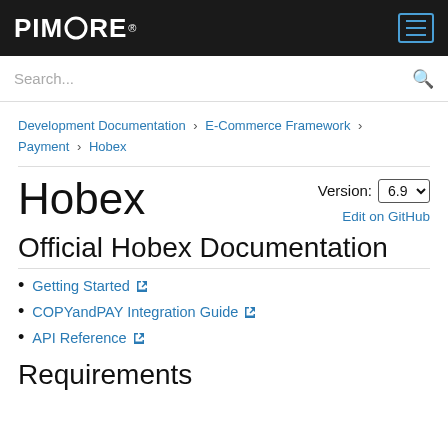PIMCORE
Search...
Development Documentation > E-Commerce Framework > Payment > Hobex
Hobex
Version: 6.9
Edit on GitHub
Official Hobex Documentation
Getting Started
COPYandPAY Integration Guide
API Reference
Requirements